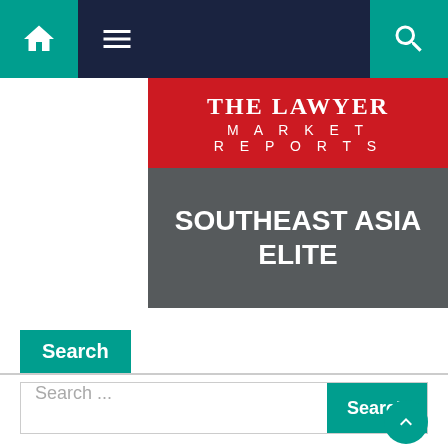Navigation bar with home, menu, and search icons
[Figure (logo): The Lawyer Market Reports - Southeast Asia Elite cover image. Red top section with 'THE LAWYER MARKET REPORTS' text, dark grey bottom section with 'SOUTHEAST ASIA ELITE' in large bold white text.]
Search
Search ...